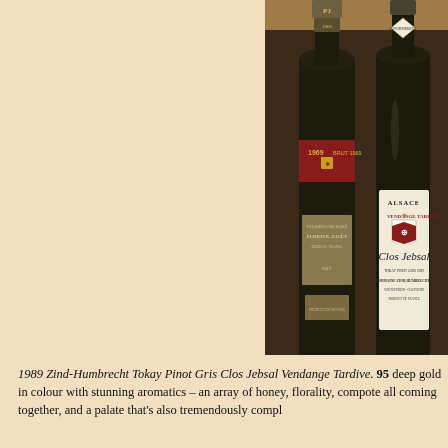[Figure (photo): Two wine bottles side by side against a dark background. Left bottle: Perrier-Jouët Champagne Rosé Brut 1969 with a red band label showing '1969 BRUT 1969'. Right bottle: Domaine Zind-Humbrecht Alsace Clos Jebsal Vendange Tardive Tokay Pinot Gris 1989 with cream label and heraldic crest.]
1989 Zind-Humbrecht Tokay Pinot Gris Clos Jebsal Vendange Tardive. 95 deep gold in colour with stunning aromatics – an array of honey, florality, compote all coming together, and a palate that's also tremendously compl